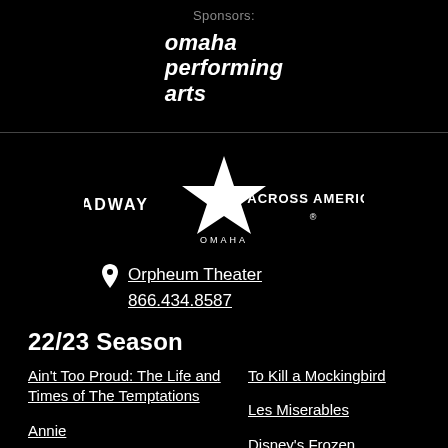Sponsors:
[Figure (logo): Omaha Performing Arts logo — stylized italic bold text reading 'omaha performing arts']
[Figure (logo): Broadway Across America Omaha logo — star graphic with text 'BROADWAY ACROSS AMERICA OMAHA']
Orpheum Theater
866.434.8587
22/23 Season
Ain't Too Proud: The Life and Times of The Temptations
Annie
To Kill a Mockingbird
Les Miserables
Disney's Frozen